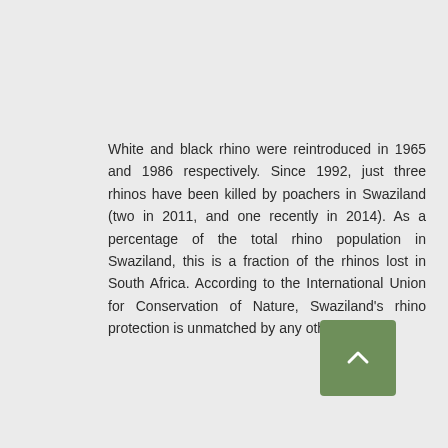White and black rhino were reintroduced in 1965 and 1986 respectively. Since 1992, just three rhinos have been killed by poachers in Swaziland (two in 2011, and one recently in 2014). As a percentage of the total rhino population in Swaziland, this is a fraction of the rhinos lost in South Africa. According to the International Union for Conservation of Nature, Swaziland's rhino protection is unmatched by any other country.
[Figure (other): Green square button with a white upward-pointing chevron arrow, used as a scroll-to-top control]